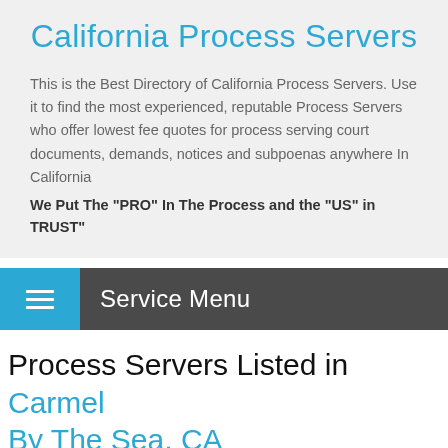California Process Servers
This is the Best Directory of California Process Servers. Use it to find the most experienced, reputable Process Servers who offer lowest fee quotes for process serving court documents, demands, notices and subpoenas anywhere In California
We Put The "PRO" In The Process and the "US" in TRUST"
Service Menu
Process Servers Listed in Carmel By The Sea, CA